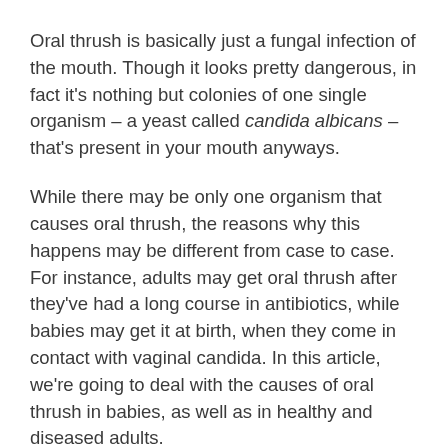Oral thrush is basically just a fungal infection of the mouth. Though it looks pretty dangerous, in fact it's nothing but colonies of one single organism – a yeast called candida albicans – that's present in your mouth anyways.
While there may be only one organism that causes oral thrush, the reasons why this happens may be different from case to case. For instance, adults may get oral thrush after they've had a long course in antibiotics, while babies may get it at birth, when they come in contact with vaginal candida. In this article, we're going to deal with the causes of oral thrush in babies, as well as in healthy and diseased adults.